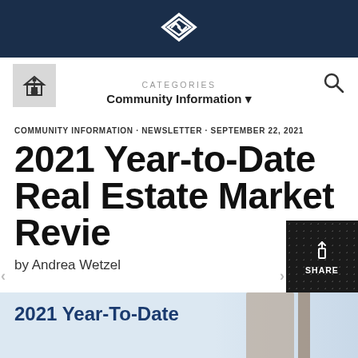Keeping Current Matters logo
CATEGORIES
Community Information ▼
COMMUNITY INFORMATION · NEWSLETTER · SEPTEMBER 22, 2021
2021 Year-to-Date Real Estate Market Review
by Andrea Wetzel
[Figure (photo): Bottom image strip showing interior of a home with text '2021 Year-To-Date']